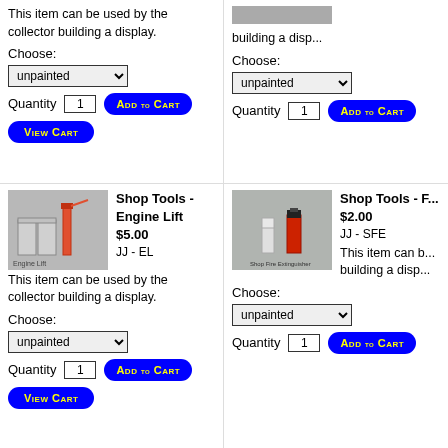This item can be used by the collector building a display.
Choose:
unpainted
Quantity 1
building a disp...
Choose:
unpainted
Quantity 1
[Figure (photo): Shop Tools - Engine Lift miniature model photo]
Shop Tools - Engine Lift
$5.00
JJ - EL
This item can be used by the collector building a display.
Choose:
unpainted
Quantity 1
[Figure (photo): Shop Fire Extinguisher miniature model photo]
Shop Tools - F...
$2.00
JJ - SFE
This item can b... building a disp...
Choose:
unpainted
Quantity 1